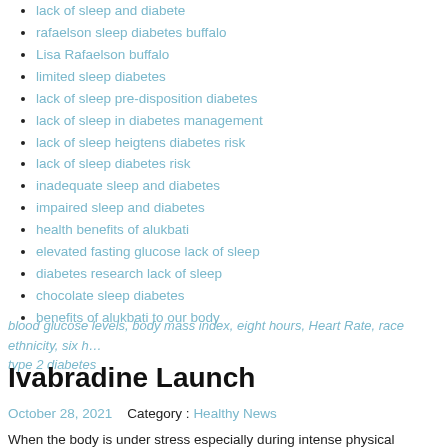lack of sleep and diabete
rafaelson sleep diabetes buffalo
Lisa Rafaelson buffalo
limited sleep diabetes
lack of sleep pre-disposition diabetes
lack of sleep in diabetes management
lack of sleep heigtens diabetes risk
lack of sleep diabetes risk
inadequate sleep and diabetes
impaired sleep and diabetes
health benefits of alukbati
elevated fasting glucose lack of sleep
diabetes research lack of sleep
chocolate sleep diabetes
benefits of alukbati to our body
blood glucose levels, body mass index, eight hours, Heart Rate, race ethnicity, six hours, type 2 diabetes
Ivabradine Launch
October 28, 2021   Category :  Healthy News
When the body is under stress especially during intense physical activities, blood and oxygen to the heart.Â  This scarcity of oxygen causes chest pain